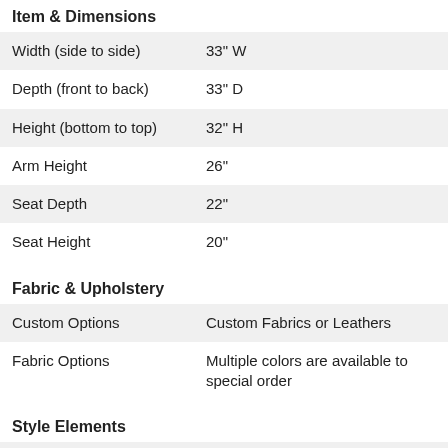Item & Dimensions
| Width (side to side) | 33" W |
| Depth (front to back) | 33" D |
| Height (bottom to top) | 32" H |
| Arm Height | 26" |
| Seat Depth | 22" |
| Seat Height | 20" |
Fabric & Upholstery
| Custom Options | Custom Fabrics or Leathers |
| Fabric Options | Multiple colors are available to special order |
Style Elements
| Style | Contemporary |
| Arm Type | Flare Tapered Arm |